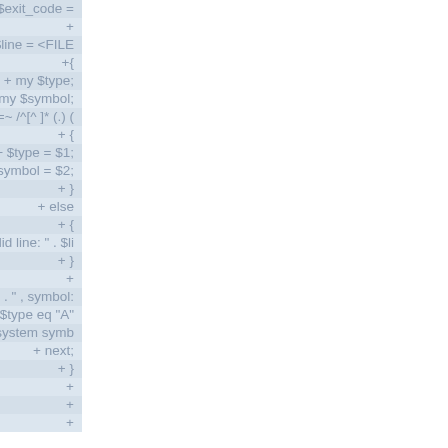[Figure (screenshot): Code diff view showing Perl code lines with alternating blue-grey striped rows. Lines show code including while loop reading FILE, type/symbol variables, regex match, assignments, else/die block, print STDERR, and if type eq A check. All lines prefixed with + showing additions. Left portion is white/blank, right portion shows the code right-aligned and clipped.]